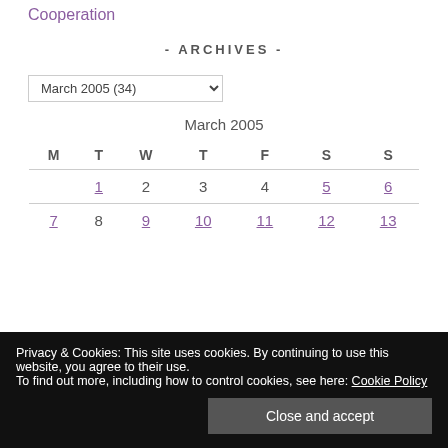Cooperation
- ARCHIVES -
March 2005 (34)
| M | T | W | T | F | S | S |
| --- | --- | --- | --- | --- | --- | --- |
|  | 1 | 2 | 3 | 4 | 5 | 6 |
| 7 | 8 | 9 | 10 | 11 | 12 | 13 |
Privacy & Cookies: This site uses cookies. By continuing to use this website, you agree to their use. To find out more, including how to control cookies, see here: Cookie Policy
Close and accept